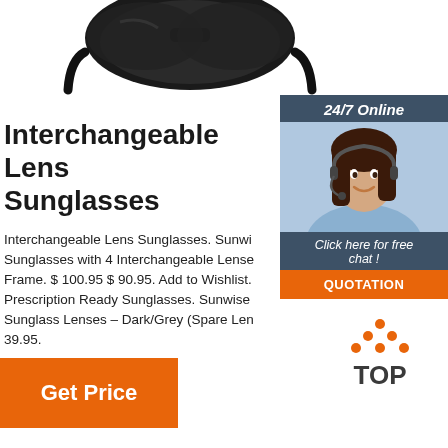[Figure (photo): Partial view of dark sunglasses from above on white background]
[Figure (photo): 24/7 online chat widget with female customer service agent wearing headset, 'Click here for free chat!' text, and orange QUOTATION button]
Interchangeable Lens Sunglasses
Interchangeable Lens Sunglasses. Sunwi Sunglasses with 4 Interchangeable Lense Frame. $ 100.95 $ 90.95. Add to Wishlist. Prescription Ready Sunglasses. Sunwise Sunglass Lenses – Dark/Grey (Spare Len 39.95.
[Figure (logo): Orange 'TOP' icon with dots arranged in triangle above the word TOP]
Get Price